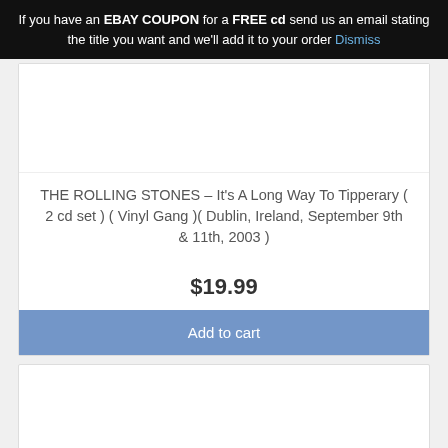If you have an EBAY COUPON for a FREE cd send us an email stating the title you want and we'll add it to your order Dismiss
[Figure (photo): Product image area (partially visible at top) for Rolling Stones CD]
THE ROLLING STONES – It's A Long Way To Tipperary ( 2 cd set ) ( Vinyl Gang )( Dublin, Ireland, September 9th & 11th, 2003 )
$19.99
Add to cart
[Figure (photo): Second product image area (partially visible at bottom)]